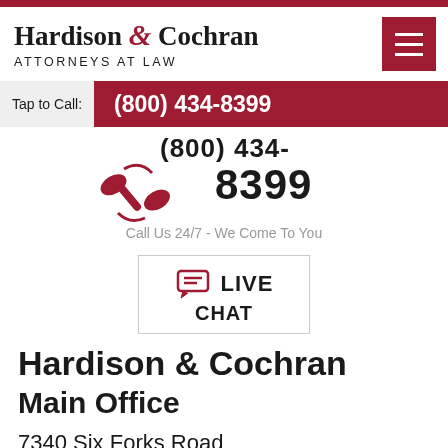[Figure (logo): Hardison & Cochran Attorneys at Law logo with red ampersand, and hamburger menu button in dark red]
Tap to Call:  (800) 434-8399
[Figure (infographic): Phone icon with partial phone number display showing (800) 434- and 8399]
Call Us 24/7 - We Come To You
[Figure (infographic): Live Chat button with chat bubble icon]
Hardison & Cochran
Main Office
7340 Six Forks Road